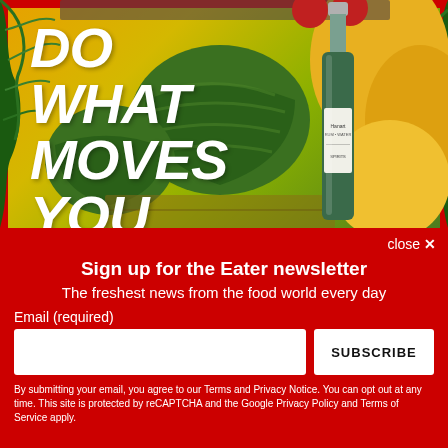[Figure (photo): Advertisement image showing watermelons, yellow melons, a bottle of spirits, and tropical palm leaves with bold white italic text reading 'DO WHAT MOVES YOU']
Sign up for the Eater newsletter
The freshest news from the food world every day
Email (required)
SUBSCRIBE
By submitting your email, you agree to our Terms and Privacy Notice. You can opt out at any time. This site is protected by reCAPTCHA and the Google Privacy Policy and Terms of Service apply.